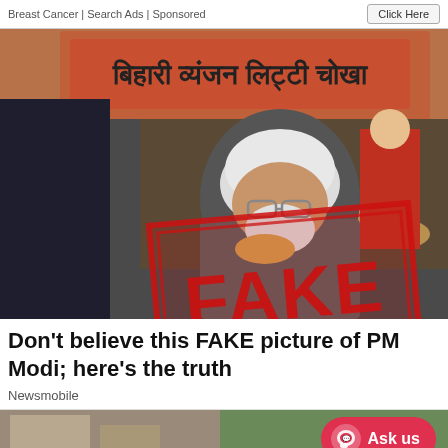Breast Cancer | Search Ads | Sponsored
[Figure (photo): A photo of PM Modi eating at a street food stall with a large red FAKE stamp overlay. Hindi text on banner behind reads: बिहारी व्यंजन लिट्टी चोखा]
Don't believe this FAKE picture of PM Modi; here's the truth
Newsmobile
[Figure (photo): Partial bottom strip showing another photo, with an Ask us chat button overlay]